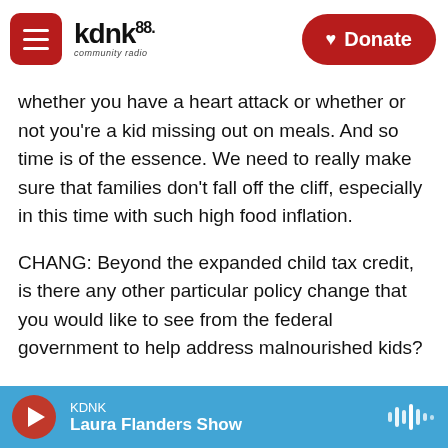[Figure (screenshot): KDNK 88.1 community radio website header with hamburger menu button, logo, and red Donate button. Mountain/snow background visible behind header.]
whether you have a heart attack or whether or not you're a kid missing out on meals. And so time is of the essence. We need to really make sure that families don't fall off the cliff, especially in this time with such high food inflation.
CHANG: Beyond the expanded child tax credit, is there any other particular policy change that you would like to see from the federal government to help address malnourished kids?
SANDEL: Yeah. I think that one of the biggest things that we know is that local communities are
KDNK — Laura Flanders Show